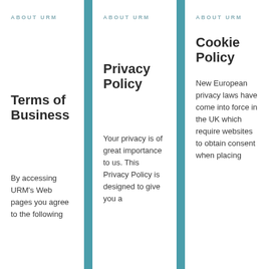ABOUT URM
Terms of Business
By accessing URM's Web pages you agree to the following
ABOUT URM
Privacy Policy
Your privacy is of great importance to us. This Privacy Policy is designed to give you a
ABOUT URM
Cookie Policy
New European privacy laws have come into force in the UK which require websites to obtain consent when placing